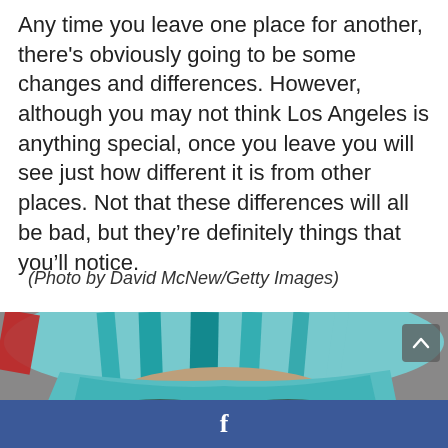Any time you leave one place for another, there's obviously going to be some changes and differences. However, although you may not think Los Angeles is anything special, once you leave you will see just how different it is from other places. Not that these differences will all be bad, but they're definitely things that you'll notice.
(Photo by David McNew/Getty Images)
[Figure (photo): Close-up photograph of a person with teal/blue dyed hair wearing black thick-framed glasses, cropped to show forehead and eyes only.]
f